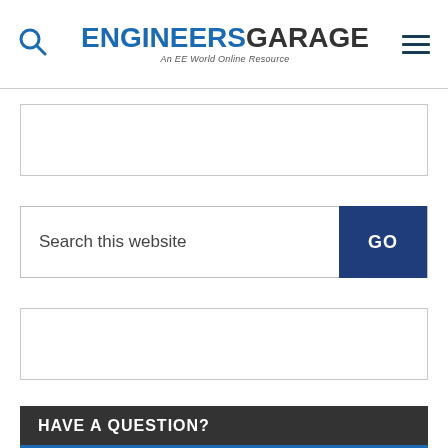ENGINEERS GARAGE — An EE World Online Resource
[Figure (other): Empty advertisement banner box 1]
Search this website
[Figure (other): Empty advertisement banner box 2]
HAVE A QUESTION?